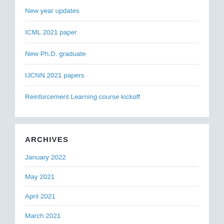New year updates
ICML 2021 paper
New Ph.D. graduate
IJCNN 2021 papers
Reinforcement Learning course kickoff
ARCHIVES
January 2022
May 2021
April 2021
March 2021